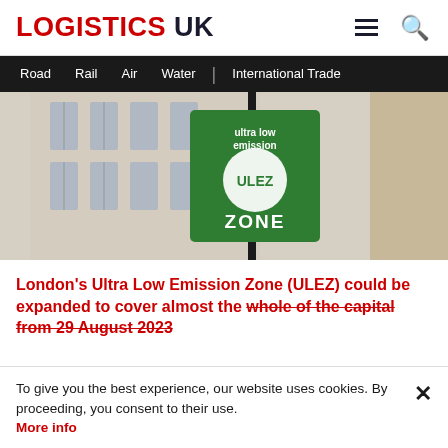LOGISTICS UK
Road   Rail   Air   Water   | International Trade
[Figure (photo): Photo of a green ULEZ Zone sign on a post in front of a white stone building. The sign reads 'ultra low emission ULEZ ZONE' with a white circle in the center.]
London's Ultra Low Emission Zone (ULEZ) could be expanded to cover almost the whole of the capital from 29 August 2023
To give you the best experience, our website uses cookies. By proceeding, you consent to their use. More info